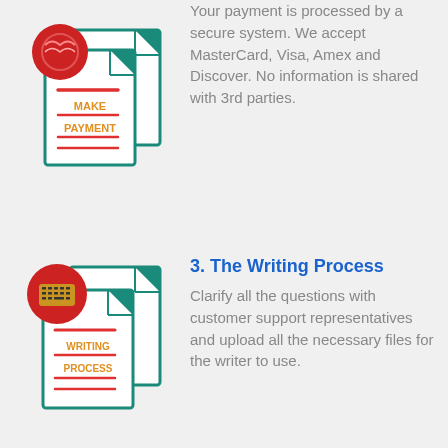[Figure (illustration): Icon showing document with MAKE PAYMENT text, teal document pages, red lines, and red circular badge]
Your payment is processed by a secure system. We accept MasterCard, Visa, Amex and Discover. No information is shared with 3rd parties.
[Figure (illustration): Icon showing document with WRITING PROCESS text, keyboard graphic in red circle, teal document pages, red lines]
3. The Writing Process
Clarify all the questions with customer support representatives and upload all the necessary files for the writer to use.
[Figure (illustration): Green phone/WhatsApp icon and red circular badge at bottom left, plus teal document icon partially visible]
4. Download Your Paper